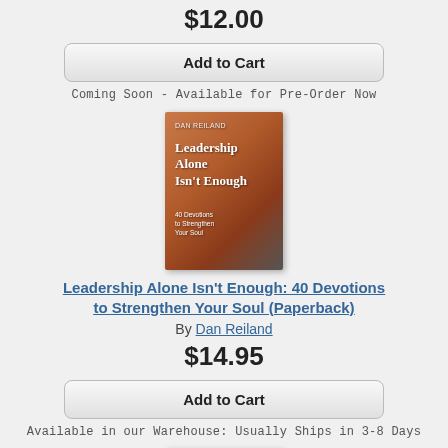$12.00
Add to Cart
Coming Soon - Available for Pre-Order Now
[Figure (photo): Book cover of 'Leadership Alone Isn't Enough: 40 Devotions to Strengthen Your Soul' by Dan Reiland]
Leadership Alone Isn't Enough: 40 Devotions to Strengthen Your Soul (Paperback)
By Dan Reiland
$14.95
Add to Cart
Available in our Warehouse: Usually Ships in 3-8 Days
[Figure (photo): Partial view of a second book cover with dark blue background]